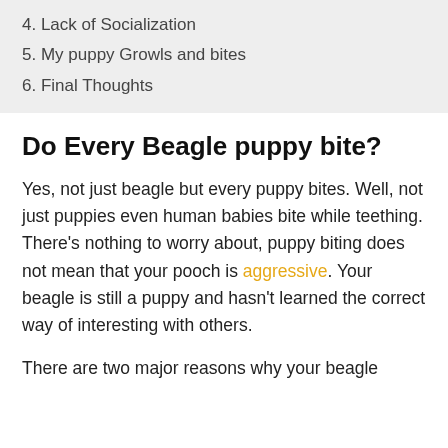4. Lack of Socialization
5. My puppy Growls and bites
6. Final Thoughts
Do Every Beagle puppy bite?
Yes, not just beagle but every puppy bites. Well, not just puppies even human babies bite while teething. There's nothing to worry about, puppy biting does not mean that your pooch is aggressive. Your beagle is still a puppy and hasn't learned the correct way of interesting with others.
There are two major reasons why your beagle